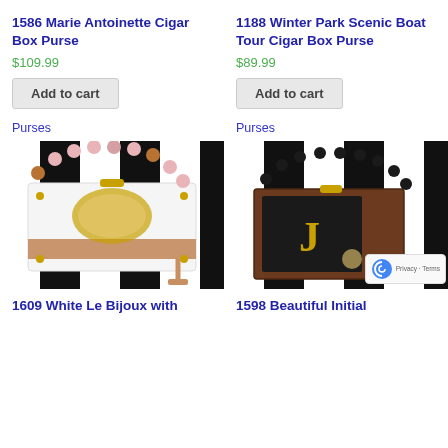1586 Marie Antoinette Cigar Box Purse
$109.99
Add to cart
Purses
1188 Winter Park Scenic Boat Tour Cigar Box Purse
$89.99
Add to cart
Purses
[Figure (photo): White cigar box purse with colorful bead handle and tassel, featuring a decorative label on front, displayed on black and white striped background]
[Figure (photo): Brown wooden cigar box purse with black bead handle, featuring a letter 'J' initial and floral decoration, displayed on black and white striped background with reCAPTCHA badge]
1609 White Le Bijoux with
1598 Beautiful Initial